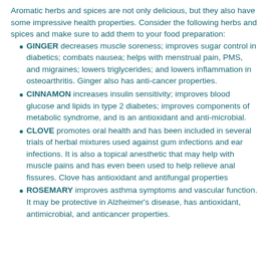Aromatic herbs and spices are not only delicious, but they also have some impressive health properties. Consider the following herbs and spices and make sure to add them to your food preparation:
GINGER decreases muscle soreness; improves sugar control in diabetics; combats nausea; helps with menstrual pain, PMS, and migraines; lowers triglycerides; and lowers inflammation in osteoarthritis. Ginger also has anti-cancer properties.
CINNAMON increases insulin sensitivity; improves blood glucose and lipids in type 2 diabetes; improves components of metabolic syndrome, and is an antioxidant and anti-microbial.
CLOVE promotes oral health and has been included in several trials of herbal mixtures used against gum infections and ear infections. It is also a topical anesthetic that may help with muscle pains and has even been used to help relieve anal fissures. Clove has antioxidant and antifungal properties
ROSEMARY improves asthma symptoms and vascular function. It may be protective in Alzheimer's disease, has antioxidant, antimicrobial, and anticancer properties.